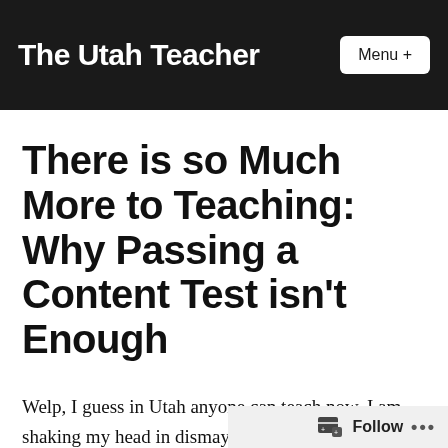The Utah Teacher
There is so Much More to Teaching: Why Passing a Content Test isn't Enough
Welp, I guess in Utah anyone can teach now. I am shaking my head in dismay that Utah legislators, the state school board, and society at large, undervalue the skills and expertise of educators. The State Board recently passed a new policy that will allow